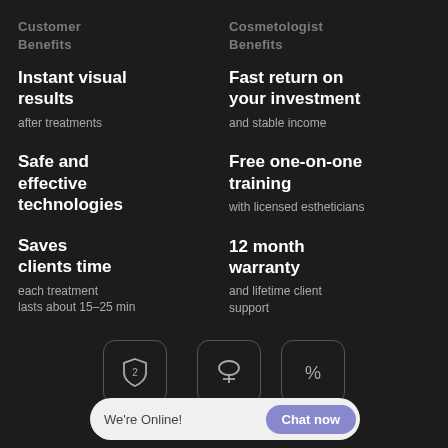Customer Benefits
Cosmetologist Benefits
Instant visual results
after treatments
Fast return on your investment
and stable income
Safe and effective technologies
technologies
Free one-on-one training
with licensed estheticians
Saves clients time
each treatment lasts about 15-25 min
12 month warranty
and lifetime client support
[Figure (infographic): Three icon boxes at bottom: shield with 2 (2-Year), graduation cap, percentage symbol. Chat bar overlay: 'We're Online! Chat now']
2-Year
We're Online!
Chat now